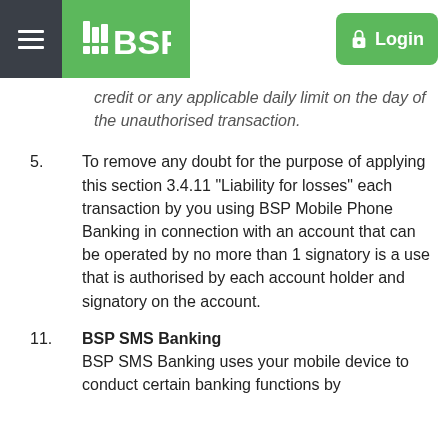BSP Login
credit or any applicable daily limit on the day of the unauthorised transaction.
5. To remove any doubt for the purpose of applying this section 3.4.11 "Liability for losses" each transaction by you using BSP Mobile Phone Banking in connection with an account that can be operated by no more than 1 signatory is a use that is authorised by each account holder and signatory on the account.
11. BSP SMS Banking
BSP SMS Banking uses your mobile device to conduct certain banking functions by